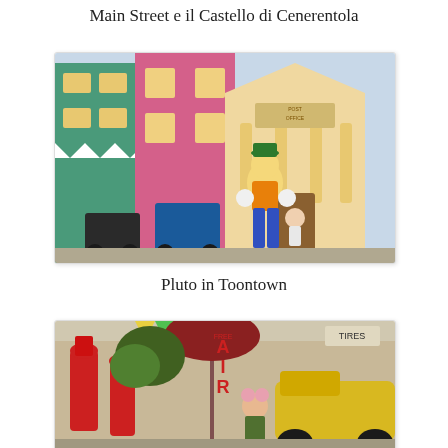Main Street e il Castello di Cenerentola
[Figure (photo): Goofy character in a colorful costume with a green hat standing in front of the Toontown Post Office building at Disneyland, with strollers in the foreground]
Pluto in Toontown
[Figure (photo): Toontown area of Disneyland with colorful cartoon-style props including red gas pump-style decorations, a maroon umbrella, yellow car, and a child with mouse ears sitting in a vehicle]